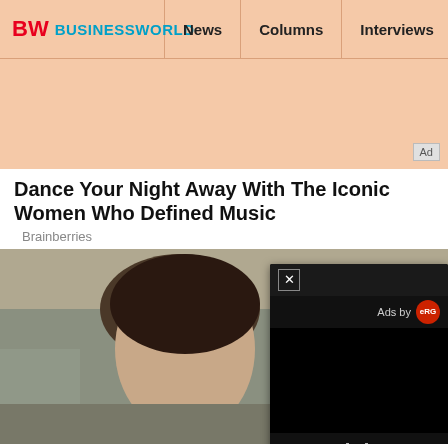BW BUSINESSWORLD | News | Columns | Interviews | BW
[Figure (other): Advertisement space with peach/salmon background and Ad badge]
Dance Your Night Away With The Iconic Women Who Defined Music
Brainberries
[Figure (photo): Photo of a young woman with dark hair in an updo, wearing a light gray dress and gold necklace, at what appears to be a film premiere or outdoor event. An ad popup overlay with X close button, 'Ads by eRG' header, black video area, and pause button appears on the right side of the image.]